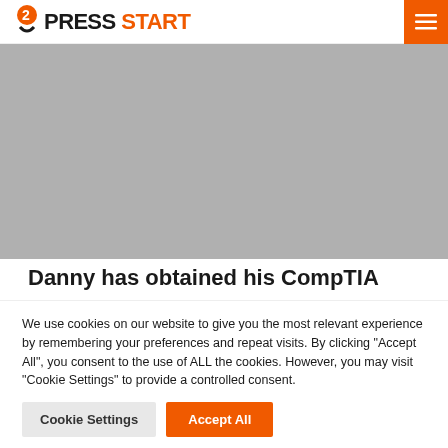PRESS START
[Figure (photo): Gray placeholder image area for article]
Danny has obtained his CompTIA
We use cookies on our website to give you the most relevant experience by remembering your preferences and repeat visits. By clicking "Accept All", you consent to the use of ALL the cookies. However, you may visit "Cookie Settings" to provide a controlled consent.